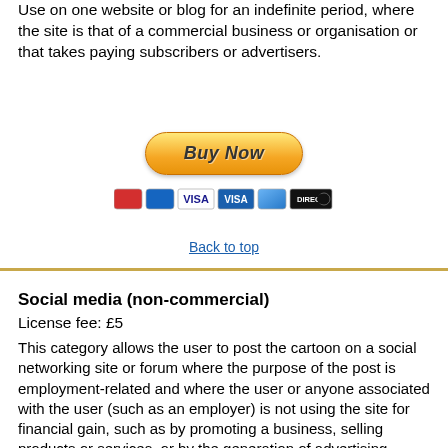Use on one website or blog for an indefinite period, where the site is that of a commercial business or organisation or that takes paying subscribers or advertisers.
[Figure (other): Buy Now button with PayPal styling and payment card icons (Mastercard, Visa, Visa blue, American Express, Direct Debit)]
Back to top
Social media (non-commercial)
License fee: £5
This category allows the user to post the cartoon on a social networking site or forum where the purpose of the post is employment-related and where the user or anyone associated with the user (such as an employer) is not using the site for financial gain, such as by promoting a business, selling products or services, or by the generation of advertising revenue.
For personal posts please use the Personal Use category